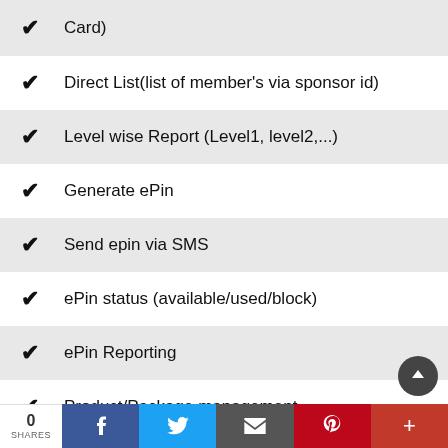Card)
Direct List(list of member's via sponsor id)
Level wise Report (Level1, level2,...)
Generate ePin
Send epin via SMS
ePin status (available/used/block)
ePin Reporting
Product/Package management
New Order`s Reporting/Approval
Support ticket management